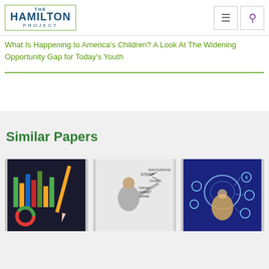THE HAMILTON PROJECT
What Is Happening to America’s Children? A Look At The Widening Opportunity Gap for Today’s Youth
Similar Papers
[Figure (photo): Charts and graphs on a tablet screen with a pencil]
[Figure (photo): Man writing on a whiteboard showing Steep, Innovation, Growth, Target Market Share]
[Figure (photo): Person with glowing brain and technology icons overlay]